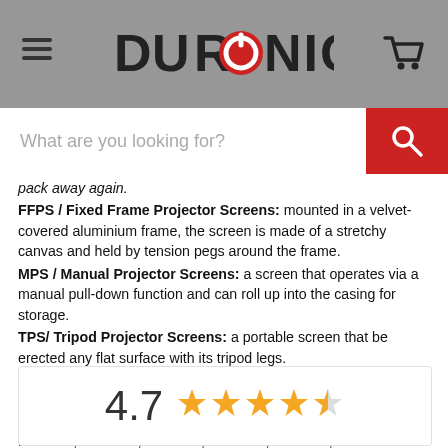DURONIC
pack away again.
FFPS / Fixed Frame Projector Screens: mounted in a velvet-covered aluminium frame, the screen is made of a stretchy canvas and held by tension pegs around the frame.
MPS / Manual Projector Screens: a screen that operates via a manual pull-down function and can roll up into the casing for storage.
TPS/ Tripod Projector Screens: a portable screen that be erected any flat surface with its tripod legs.
This screen is an essential accessory to enjoy your video projector. To complete your set up. we also recommend having a look at our projector mounts PBO1XB, PBO2XL, PBO3XB, PBO4XL, PBO5XB, PBO6XL, PBO7XB, PBO8XL, PB1OXM.
[Figure (other): Rating display showing 4.7 with 4.5 gold stars]